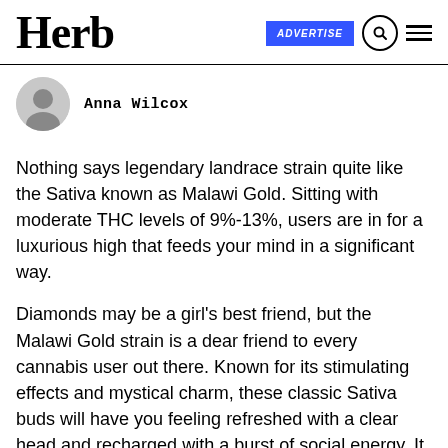Herb | ADVERTISE
Anna Wilcox
Nothing says legendary landrace strain quite like the Sativa known as Malawi Gold. Sitting with moderate THC levels of 9%-13%, users are in for a luxurious high that feeds your mind in a significant way.
Diamonds may be a girl's best friend, but the Malawi Gold strain is a dear friend to every cannabis user out there. Known for its stimulating effects and mystical charm, these classic Sativa buds will have you feeling refreshed with a clear head and recharged with a burst of social energy. It seems like every day, we come